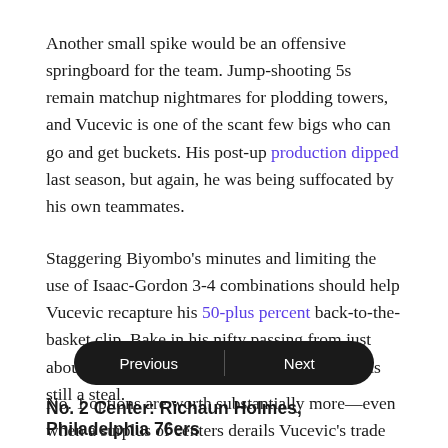Another small spike would be an offensive springboard for the team. Jump-shooting 5s remain matchup nightmares for plodding towers, and Vucevic is one of the scant few bigs who can go and get buckets. His post-up production dipped last season, but again, he was being suffocated by his own teammates.
Staggering Biyombo's minutes and limiting the use of Isaac-Gordon 3-4 combinations should help Vucevic recapture his 50-plus percent back-to-the-basket clip. Bake in his nifty passing from just about anywhere on the court, and his contract is still a steal.
No. 1 options are worth substantially more—even when a surplus of centers derails Vucevic's trade value.
No. 2 Center: Richaun Holmes, Philadelphia 76ers